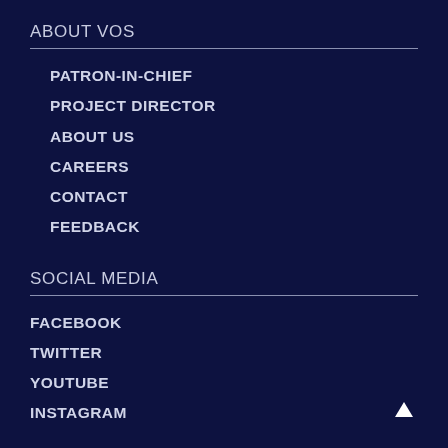ABOUT VOS
PATRON-IN-CHIEF
PROJECT DIRECTOR
ABOUT US
CAREERS
CONTACT
FEEDBACK
SOCIAL MEDIA
FACEBOOK
TWITTER
YOUTUBE
INSTAGRAM
VOS MOBILE APP